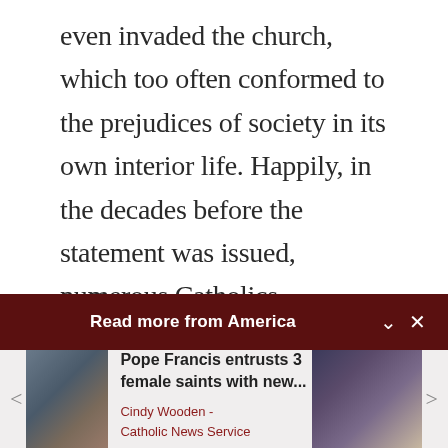even invaded the church, which too often conformed to the prejudices of society in its own interior life. Happily, in the decades before the statement was issued, numerous Catholics, including clergy and religious, gave witness to their awareness of the evil of racism by participating in the civil rights movement. Through words and actions, these men and women helped focus the nation's
Read more from America
[Figure (screenshot): Article card: Pope Francis entrusts 3 female saints with new... by Cindy Wooden - Catholic News Service, with a thumbnail image on the left and a photograph of a priest elevating the Eucharist on the right.]